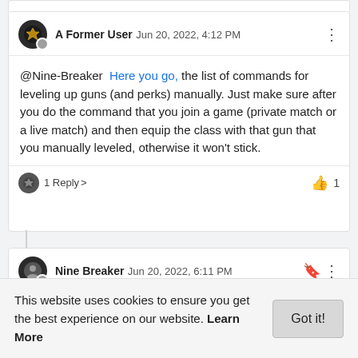A Former User  Jun 20, 2022, 4:12 PM
@Nine-Breaker  Here you go, the list of commands for leveling up guns (and perks) manually. Just make sure after you do the command that you join a game (private match or a live match) and then equip the class with that gun that you manually leveled, otherwise it won't stick.
1 Reply >   👍 1
Nine Breaker  Jun 20, 2022, 6:11 PM
@Adam  Bless you, good sir ! Thank you very much.
This website uses cookies to ensure you get the best experience on our website. Learn More
Got it!